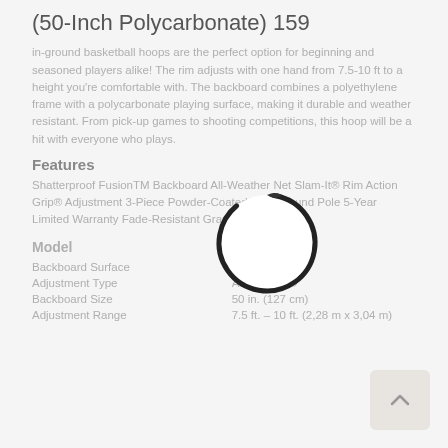(50-Inch Polycarbonate) 159
in-ground basketball hoops are the perfect option for beginning and seasoned players alike! The rim adjusts with one hand from 7.5-10 ft to a height you're comfortable with. The backboard combines a polyethylene frame with a polycarbonate playing surface, making it durable and weather resistant. From pick-up games to shooting competitions, this hoop will be a hit with everyone who plays.
[Figure (illustration): Loading spinner circle icon, dark stroke on light background]
Features
Shatterproof FusionTM Backboard All-Weather Net Slam-It® Rim Action Grip® Adjustment 3-Piece Powder-Coated Steel Round Pole 5-Year Limited Warranty Fade-Resistant Graphics
| Model | 1084 |
| Backboard Surface | Polycarbonate |
| Adjustment Type | Action Grip® |
| Backboard Size | 50 in. (127 cm) |
| Adjustment Range | 7.5 ft. – 10 ft. (2.28 m x 3.04 m) |